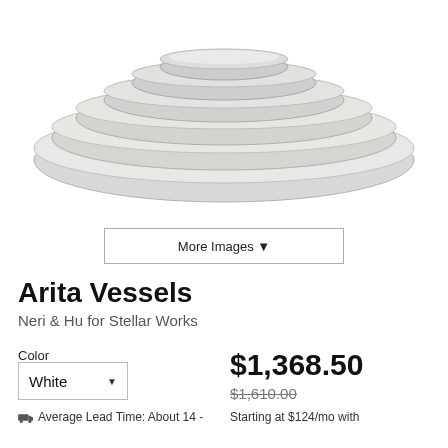[Figure (photo): Stacked white/light grey circular ceramic vessel trays (Arita Vessels) photographed from above at an angle, showing concentric ring-like forms on a white background.]
More Images ▼
Arita Vessels
Neri & Hu for Stellar Works
Color
White ▼
$1,368.50
$1,610.00
Average Lead Time: About 14 -
Starting at $124/mo with